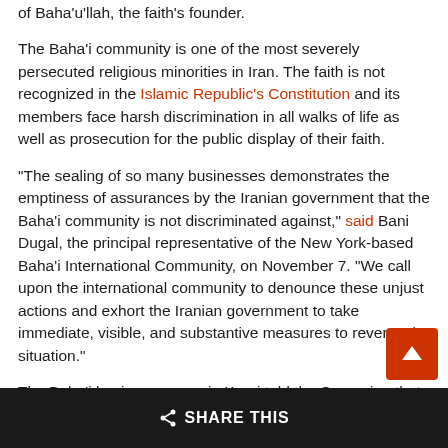of Baha'u'llah, the faith's founder.
The Baha'i community is one of the most severely persecuted religious minorities in Iran. The faith is not recognized in the Islamic Republic's Constitution and its members face harsh discrimination in all walks of life as well as prosecution for the public display of their faith.
“The sealing of so many businesses demonstrates the emptiness of assurances by the Iranian government that the Baha’i community is not discriminated against,” said Bani Dugal, the principal representative of the New York-based Baha’i International Community, on November 7. “We call upon the international community to denounce these unjust actions and exhort the Iranian government to take immediate, visible, and substantive measures to reverse the situation.”
The Baha’i business owner in Karaj told the Campaign that six agents raided his workshop on the morning of November 6.
SHARE THIS